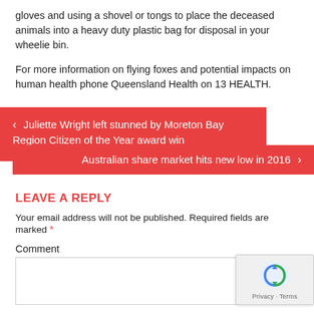gloves and using a shovel or tongs to place the deceased animals into a heavy duty plastic bag for disposal in your wheelie bin.
For more information on flying foxes and potential impacts on human health phone Queensland Health on 13 HEALTH.
< Juliette Wright left stunned by Moreton Bay Region Citizen of the Year award win
Australian share market hits new low in 2016 >
LEAVE A REPLY
Your email address will not be published. Required fields are marked *
Comment